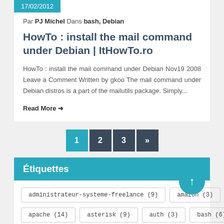17/02/2012
Par PJ Michel Dans bash, Debian
HowTo : install the mail command under Debian | ItHowTo.ro
HowTo : install the mail command under Debian Nov19 2008 Leave a Comment Written by gkoo The mail command under Debian distros is a part of the mailutils package. Simply...
Read More →
Étiquettes
administrateur-systeme-freelance (9)
amazon (3)
apache (14)
asterisk (9)
auth (3)
bash (6)